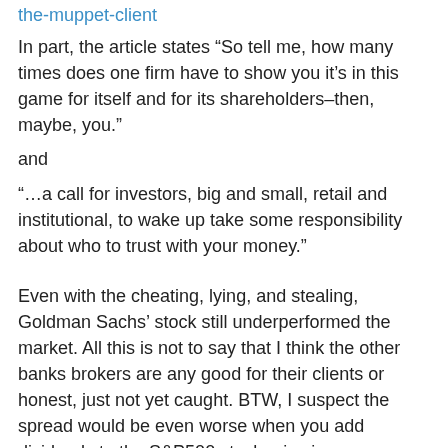the-muppet-client
In part, the article states “So tell me, how many times does one firm have to show you it’s in this game for itself and for its shareholders–then, maybe, you.”
and
“…a call for investors, big and small, retail and institutional, to wake up take some responsibility about who to trust with your money.”
Even with the cheating, lying, and stealing, Goldman Sachs’ stock still underperformed the market. All this is not to say that I think the other banks brokers are any good for their clients or honest, just not yet caught. BTW, I suspect the spread would be even worse when you add dividends to the S&P500 stock price increase.